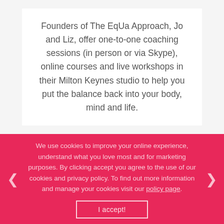Founders of The EqUa Approach, Jo and Liz, offer one-to-one coaching sessions (in person or via Skype), online courses and live workshops in their Milton Keynes studio to help you put the balance back into your body, mind and life.
We use cookies to improve your online experience, understand what you love most and for marketing purposes. By clicking accept you agree to the use of our cookies and privacy policy. To find out more information and manage your cookies visit our policy page.